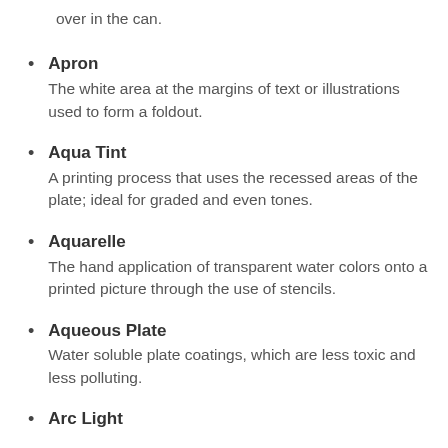over in the can.
Apron
The white area at the margins of text or illustrations used to form a foldout.
Aqua Tint
A printing process that uses the recessed areas of the plate; ideal for graded and even tones.
Aquarelle
The hand application of transparent water colors onto a printed picture through the use of stencils.
Aqueous Plate
Water soluble plate coatings, which are less toxic and less polluting.
Arc Light